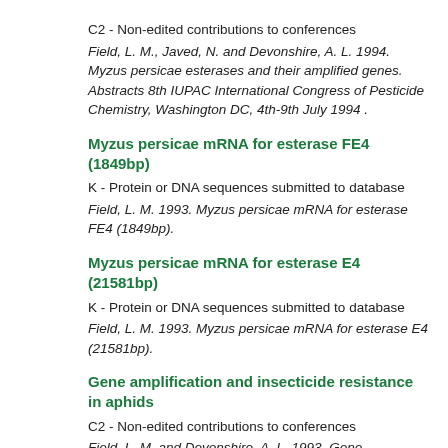C2 - Non-edited contributions to conferences
Field, L. M., Javed, N. and Devonshire, A. L. 1994. Myzus persicae esterases and their amplified genes. Abstracts 8th IUPAC International Congress of Pesticide Chemistry, Washington DC, 4th-9th July 1994 .
Myzus persicae mRNA for esterase FE4 (1849bp)
K - Protein or DNA sequences submitted to database
Field, L. M. 1993. Myzus persicae mRNA for esterase FE4 (1849bp).
Myzus persicae mRNA for esterase E4 (21581bp)
K - Protein or DNA sequences submitted to database
Field, L. M. 1993. Myzus persicae mRNA for esterase E4 (21581bp).
Gene amplification and insecticide resistance in aphids
C2 - Non-edited contributions to conferences
Field, L. M. and Devonshire, A. L. 1993. Gene amplification and insecticide resistance in aphids. Abstracts 17th International